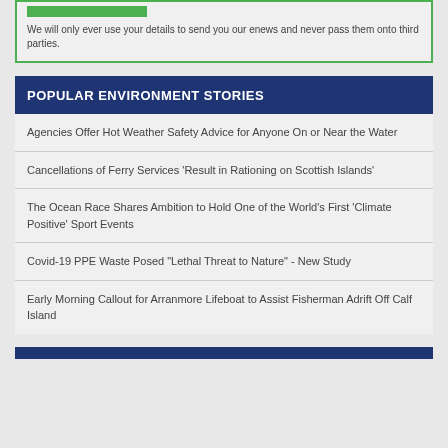We will only ever use your details to send you our enews and never pass them onto third parties.
POPULAR ENVIRONMENT STORIES
Agencies Offer Hot Weather Safety Advice for Anyone On or Near the Water
Cancellations of Ferry Services 'Result in Rationing on Scottish Islands'
The Ocean Race Shares Ambition to Hold One of the World's First 'Climate Positive' Sport Events
Covid-19 PPE Waste Posed "Lethal Threat to Nature" - New Study
Early Morning Callout for Arranmore Lifeboat to Assist Fisherman Adrift Off Calf Island